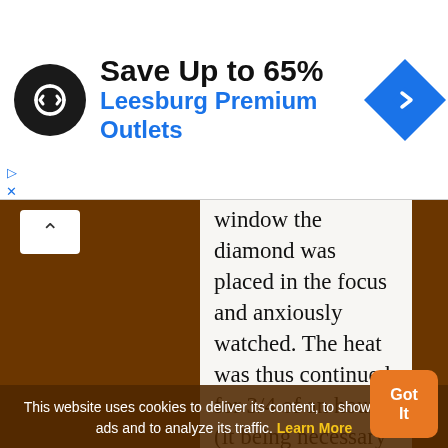[Figure (infographic): Advertisement banner: circular black logo with two arrows icon, text 'Save Up to 65%' in bold black and 'Leesburg Premium Outlets' in blue, blue diamond navigation icon on right, small play and close icons on left]
window the diamond was placed in the focus and anxiously watched. The heat was thus continued for 3/4 of an hour (it being necessary to cool the globe at times) and during that time it was thought that the diamond was slowly diminishing and becoming opaque … On a sudden Sir H Davy observed the diamond to burn visibly, and when
This website uses cookies to deliver its content, to show relevant ads and to analyze its traffic. Learn More
Got It